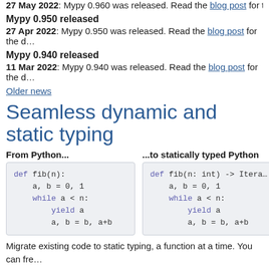27 May 2022: Mypy 0.960 was released. Read the blog post for the ...
Mypy 0.950 released
27 Apr 2022: Mypy 0.950 was released. Read the blog post for the d...
Mypy 0.940 released
11 Mar 2022: Mypy 0.940 was released. Read the blog post for the d...
Older news
Seamless dynamic and static typing
From Python...
...to statically typed Python
[Figure (screenshot): Python code box showing: def fib(n): / a, b = 0, 1 / while a < n: / yield a / a, b = b, a+b]
[Figure (screenshot): Statically typed Python code box showing: def fib(n: int) -> Itera... / a, b = 0, 1 / while a < n: / yield a / a, b = b, a+b]
Migrate existing code to static typing, a function at a time. You can fre... expression. No need to give up dynamic typing — use static typing w... code. Mypy can infer the types of other variables.